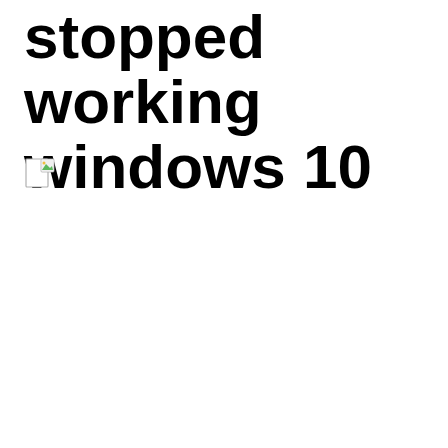stopped working windows 10
[Figure (illustration): Small broken/missing image icon placeholder, approximately 32x32 pixels, showing a document icon with a small green and white graphic in the corner]